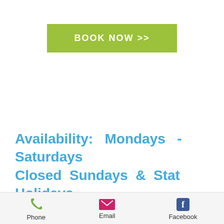[Figure (other): Green 'BOOK NOW >>' button]
Availability: Mondays - Saturdays
Closed Sundays & Stat Holidays
[Figure (other): Footer bar with Phone, Email, and Facebook icons and labels]